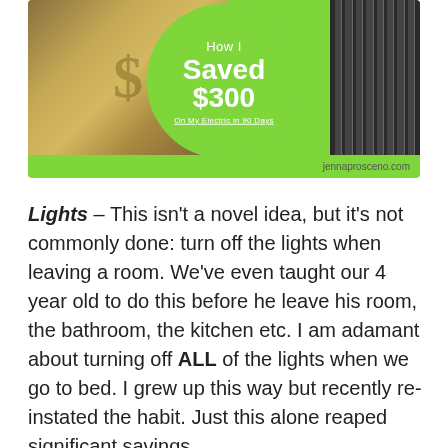[Figure (infographic): Green banner graphic with money/dollar bills background on the left, dark vertical blinds on the right, a large green circle in the center with text 'How I Saved $300 On My Electric in 90 Days', and website 'jennaprosceno.com' at bottom right]
Lights – This isn't a novel idea, but it's not commonly done: turn off the lights when leaving a room.  We've even taught our 4 year old to do this before he leave his room, the bathroom, the kitchen etc.  I am adamant about turning off ALL of the lights when we go to bed. I grew up this way but recently re-instated the habit.  Just this alone reaped significant savings.